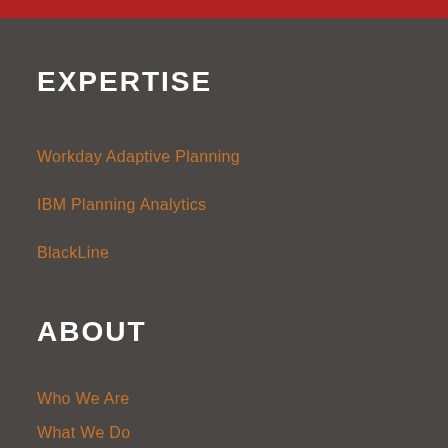EXPERTISE
Workday Adaptive Planning
IBM Planning Analytics
BlackLine
ABOUT
Who We Are
What We Do